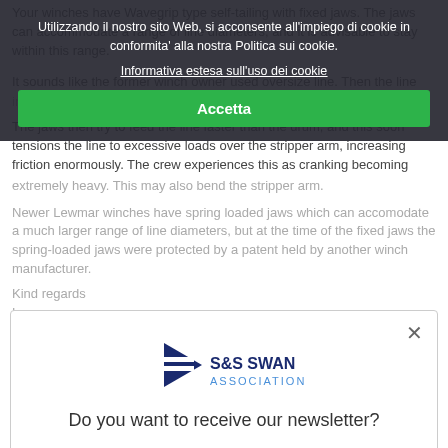Your winches have Wavegrip type self-tailing with fixed jaws. The jaws can accommodate a range of line diameters, and it is advisable to stay within this range.
It sounds like the former winch owner used oversize line. Then the line increased feed diameter for the line.
The jaws then try to feed the line faster than the drum, and this soon tensions the line to excessive loads over the stripper arm, increasing friction enormously. The crew experiences this as cranking becoming extremely heavy. This may also bend the stripper arm.
Newer Lewmar winches have spring loaded jaws which can accomodate a much larger range of line diameters, but at the time of the fixed jaws the spring-loaded jaws were protected by a patent held by another winch manufacturer.
Kind regards
Lars
[Figure (logo): S&S Swan Association logo with triangular burgee flag and association name]
Do you want to receive our newsletter?
Yes I want to subscribe!
Threads: 1643   Posts: [...]   Online Members: 2
© 2001-2022 S&S Swan Association - Design by design A
Utilizzando il nostro sito Web, si acconsente all'impiego di cookie in conformita' alla nostra Politica sui cookie.
Informativa estesa sull'uso dei cookie
Accetta